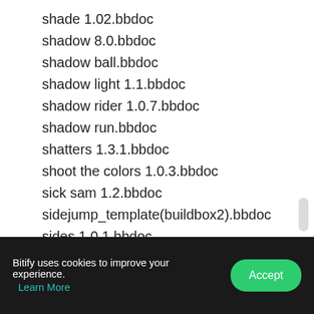shade 1.02.bbdoc
shadow 8.0.bbdoc
shadow ball.bbdoc
shadow light 1.1.bbdoc
shadow rider 1.0.7.bbdoc
shadow run.bbdoc
shatters 1.3.1.bbdoc
shoot the colors 1.0.3.bbdoc
sick sam 1.2.bbdoc
sidejump_template(buildbox2).bbdoc
sides 1.0.1.bbdoc
sides.bbdoc
skatefever.bbdoc
skaty penguin 1.91.bbdoc
skeri 1.1.bbdoc
skull sugar 1.3.bbdoc
sky castle 1.0.bbdoc
sky hammer 1.3.bbdoc
sky hop 1.0.bbdoc
Bitify uses cookies to improve your experience. Learn More Accept